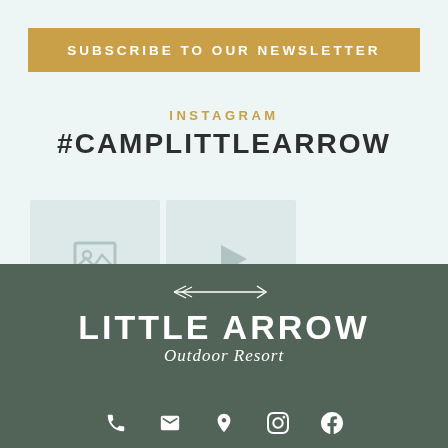SUBSCRIBE TO OUR NEWSLETTER
INSTAGRAM
#CAMPLITTLEARROW
[Figure (screenshot): Two Instagram thumbnail placeholders showing image and video icons]
[Figure (logo): Little Arrow Outdoor Resort logo with arrow graphic, bold uppercase text and italic subtitle on dark green background]
[Figure (infographic): Footer icon row with phone, email, map pin, Instagram, and Facebook icons in white on dark green background]